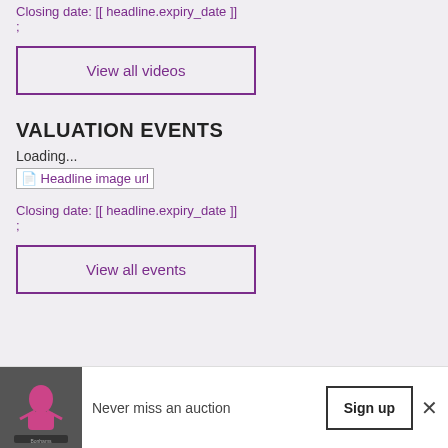Closing date: [[ headline.expiry_date ]]
;
View all videos
VALUATION EVENTS
Loading...
[Figure (other): Broken image placeholder labeled 'Headline image url']
Closing date: [[ headline.expiry_date ]]
;
View all events
[Figure (photo): Person in pink top gesturing at an auction]
Never miss an auction
Sign up